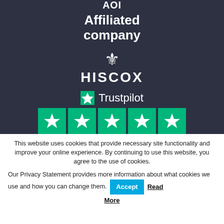[Figure (logo): AOI logo (white text on dark background) with 'Affiliated company' text below, Hiscox logo with fleur-de-lis symbol, and Trustpilot logo with 5 green star rating boxes]
This website uses cookies that provide necessary site functionality and improve your online experience. By continuing to use this website, you agree to the use of cookies.
Our Privacy Statement provides more information about what cookies we use and how you can change them. Accept Read More